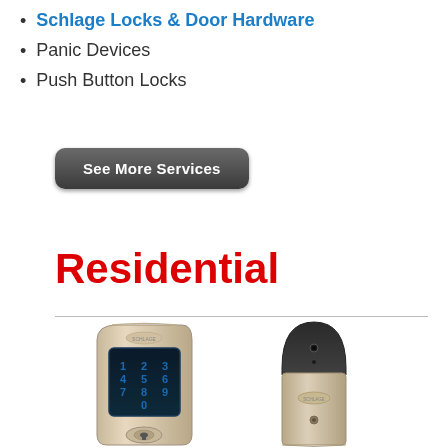Schlage Locks & Door Hardware
Panic Devices
Push Button Locks
See More Services
Residential
[Figure (photo): Two Schlage electronic deadbolt locks shown side by side — left is a touchscreen keypad lock in brushed nickel, right is a fingerprint/camera smart lock in brushed nickel with dark top housing.]